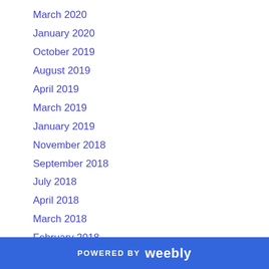March 2020
January 2020
October 2019
August 2019
April 2019
March 2019
January 2019
November 2018
September 2018
July 2018
April 2018
March 2018
February 2018
January 2018
POWERED BY weebly